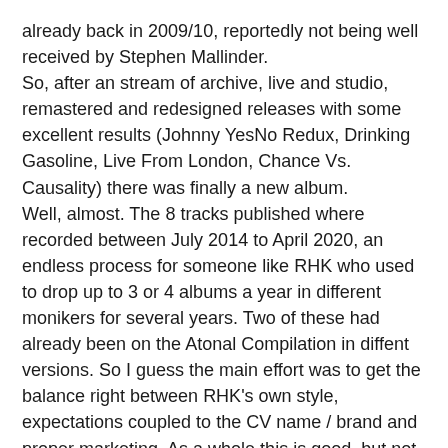already back in 2009/10, reportedly not being well received by Stephen Mallinder.
So, after an stream of archive, live and studio, remastered and redesigned releases with some excellent results (Johnny YesNo Redux, Drinking Gasoline, Live From London, Chance Vs. Causality) there was finally a new album.
Well, almost. The 8 tracks published where recorded between July 2014 to April 2020, an endless process for someone like RHK who used to drop up to 3 or 4 albums a year in different monikers for several years. Two of these had already been on the Atonal Compilation in diffent versions. So I guess the main effort was to get the balance right between RHK's own style, expectations coupled to the CV name / brand and proper marketing. As a whole this is good, but not extraordinary and if it had been sold to me as a new RHK album under whatever moniker I had had no problems with it. Seeing it as a continuation of the last Cabaret Voltaire albums – Plasticity, International Language and The Conversation does not really work for me as he plays it safer than needed.